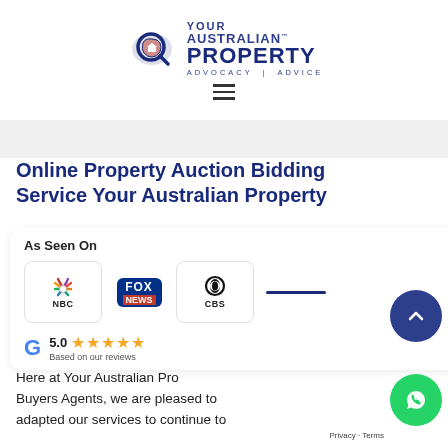[Figure (logo): Your Australian Property logo with magnifying glass over Australia map, text: YOUR AUSTRALIAN PROPERTY ADVOCACY | ADVICE]
[Figure (other): Hamburger menu icon (three horizontal lines)]
Online Property Auction Bidding Service Your Australian Property
[Figure (infographic): As Seen On panel with NBC, FOX NEWS, CBS logos and a blue line, then Google G logo with 5.0 star rating]
Here at Your Australian Pro Buyers Agents, we are pleased to adapted our services to continue to